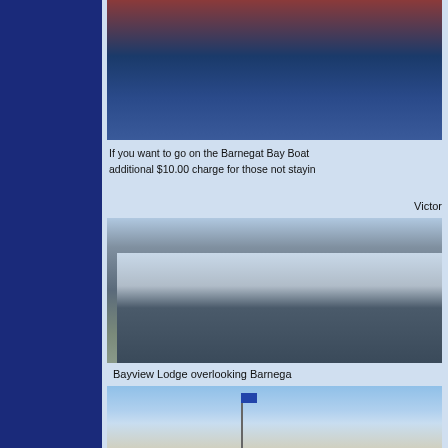[Figure (photo): Water/bay scene photo at top, showing dark water with light reflections]
If you want to go on the Barnegat Bay Boat additional $10.00 charge for those not stayin
Victor
[Figure (photo): Victorian-style hotel or lodge building with dark siding, white trim, dormers, and an American flag, surrounded by trees and landscaping]
Bayview Lodge overlooking Barnega
[Figure (photo): Bayview Lodge scene overlooking Barnegat Bay with flags and buildings visible]